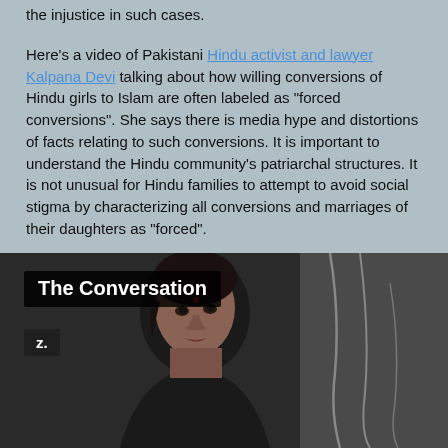the injustice in such cases.
Here's a video of Pakistani Hindu activist and lawyer Kalpana Devi talking about how willing conversions of Hindu girls to Islam are often labeled as "forced conversions". She says there is media hype and distortions of facts relating to such conversions. It is important to understand the Hindu community's patriarchal structures. It is not unusual for Hindu families to attempt to avoid social stigma by characterizing all conversions and marriages of their daughters as "forced".
https://vimeo.com/287053032
[Figure (screenshot): Video thumbnail showing a woman looking upward with 'The Conversation' label overlay and a 'z.' icon in the bottom left, on a dark background]